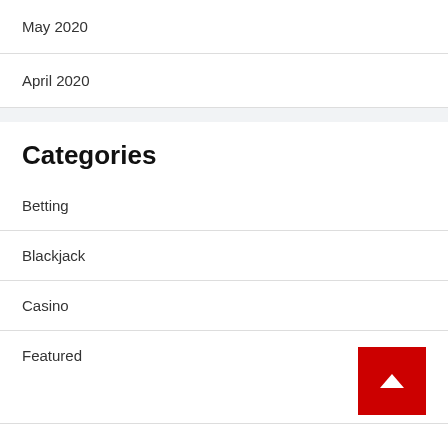May 2020
April 2020
Categories
Betting
Blackjack
Casino
Featured